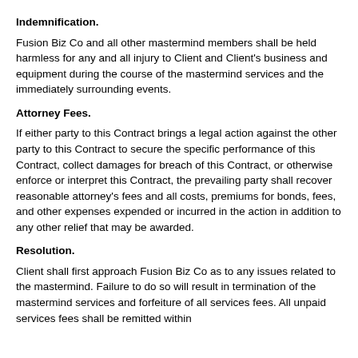Indemnification.
Fusion Biz Co and all other mastermind members shall be held harmless for any and all injury to Client and Client's business and equipment during the course of the mastermind services and the immediately surrounding events.
Attorney Fees.
If either party to this Contract brings a legal action against the other party to this Contract to secure the specific performance of this Contract, collect damages for breach of this Contract, or otherwise enforce or interpret this Contract, the prevailing party shall recover reasonable attorney's fees and all costs, premiums for bonds, fees, and other expenses expended or incurred in the action in addition to any other relief that may be awarded.
Resolution.
Client shall first approach Fusion Biz Co as to any issues related to the mastermind. Failure to do so will result in termination of the mastermind services and forfeiture of all services fees. All unpaid services fees shall be remitted within